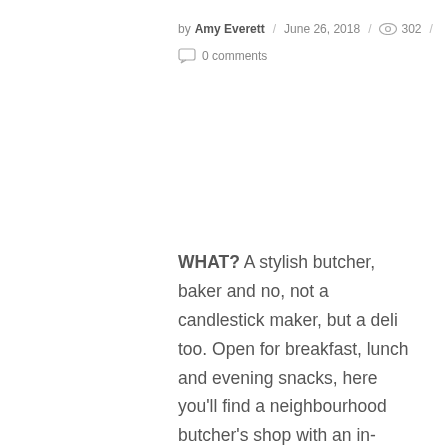by Amy Everett / June 26, 2018 / 302 / 0 comments
WHAT? A stylish butcher, baker and no, not a candlestick maker, but a deli too. Open for breakfast, lunch and evening snacks, here you'll find a neighbourhood butcher's shop with an in-house restaurant, where meat is 100% grass fed and sourced from Mount Grace Farm in Yorkshire.